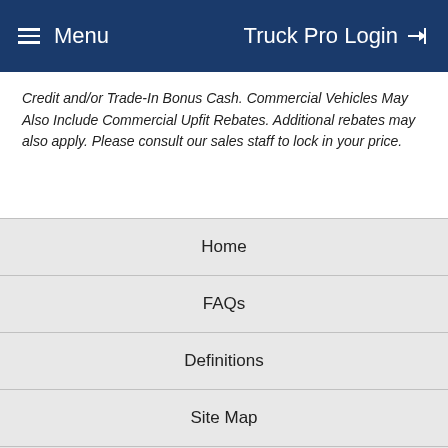Menu   Truck Pro Login
Credit and/or Trade-In Bonus Cash. Commercial Vehicles May Also Include Commercial Upfit Rebates. Additional rebates may also apply. Please consult our sales staff to lock in your price.
Home
FAQs
Definitions
Site Map
Privacy Policy
Support
Truck Pro Login